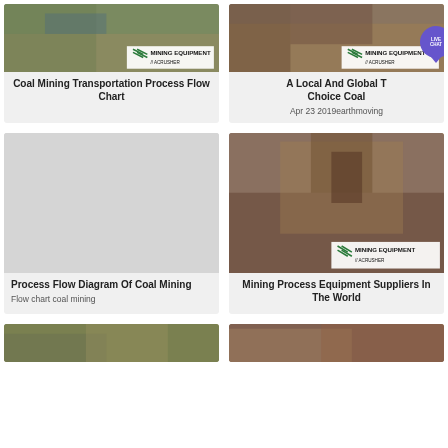[Figure (photo): Mining site with water and green hills — Coal Mining Transportation Process Flow Chart card image with MINING EQUIPMENT ACRUSHER watermark]
Coal Mining Transportation Process Flow Chart
[Figure (photo): Mining equipment/crusher machinery — A Local And Global T... Choice Coal card image with MINING EQUIPMENT ACRUSHER watermark and LIVE CHAT bubble]
A Local And Global T... Choice Coal
Apr 23 2019earthmoving
[Figure (photo): Light grey blank card — Process Flow Diagram Of Coal Mining]
Process Flow Diagram Of Coal Mining
Flow chart coal mining
[Figure (photo): Mining crusher equipment on site — Mining Process Equipment Suppliers In The World card image with MINING EQUIPMENT ACRUSHER watermark]
Mining Process Equipment Suppliers In The World
[Figure (photo): Bottom-left card partial image]
[Figure (photo): Bottom-right card partial image]